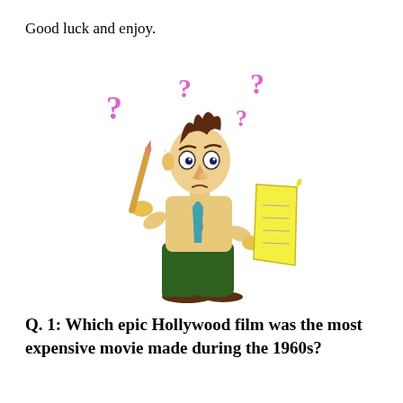Good luck and enjoy.
[Figure (illustration): Cartoon of a confused man holding a pencil to his head and a yellow paper, surrounded by pink question marks.]
Q.  1:  Which epic Hollywood film was the most expensive movie made during the 1960s?